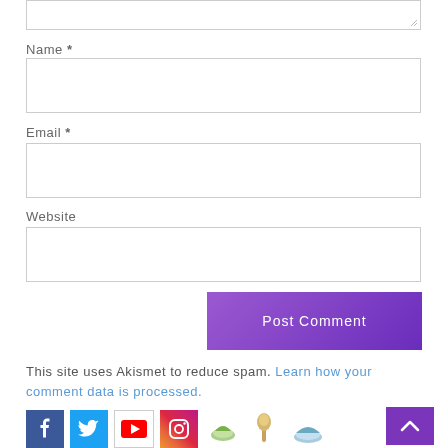[Figure (screenshot): Textarea input box (partially visible at top) with resize handle in lower right corner]
Name *
[Figure (screenshot): Empty text input box for Name field]
Email *
[Figure (screenshot): Empty text input box for Email field]
Website
[Figure (screenshot): Empty text input box for Website field]
[Figure (screenshot): Purple 'Post Comment' button]
This site uses Akismet to reduce spam. Learn how your comment data is processed.
[Figure (screenshot): Back to top button (purple square with upward chevron)]
[Figure (screenshot): Social media icons row: Facebook, Twitter, YouTube, Instagram, and food-related icons]